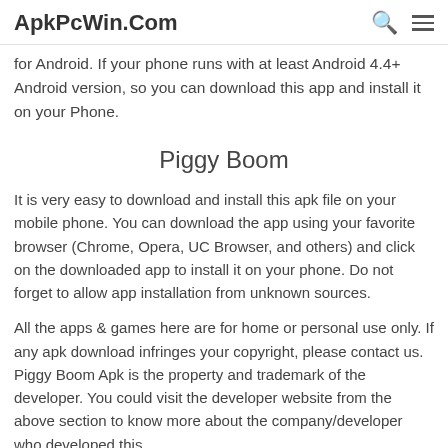ApkPcWin.Com
for Android. If your phone runs with at least Android 4.4+ Android version, so you can download this app and install it on your Phone.
Piggy Boom
It is very easy to download and install this apk file on your mobile phone. You can download the app using your favorite browser (Chrome, Opera, UC Browser, and others) and click on the downloaded app to install it on your phone. Do not forget to allow app installation from unknown sources.
All the apps & games here are for home or personal use only. If any apk download infringes your copyright, please contact us. Piggy Boom Apk is the property and trademark of the developer. You could visit the developer website from the above section to know more about the company/developer who developed this.